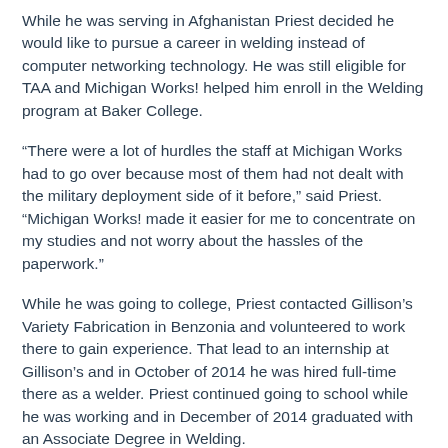While he was serving in Afghanistan Priest decided he would like to pursue a career in welding instead of computer networking technology. He was still eligible for TAA and Michigan Works! helped him enroll in the Welding program at Baker College.
“There were a lot of hurdles the staff at Michigan Works had to go over because most of them had not dealt with the military deployment side of it before,” said Priest. “Michigan Works! made it easier for me to concentrate on my studies and not worry about the hassles of the paperwork.”
While he was going to college, Priest contacted Gillison’s Variety Fabrication in Benzonia and volunteered to work there to gain experience. That lead to an internship at Gillison’s and in October of 2014 he was hired full-time there as a welder. Priest continued going to school while he was working and in December of 2014 graduated with an Associate Degree in Welding.
“I don’t think things could have ended up any better,” said Priest. “I finished my degree and ended up with a good job close to home.”